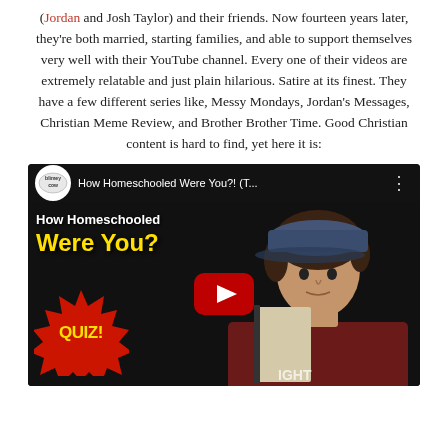(Jordan and Josh Taylor) and their friends. Now fourteen years later, they're both married, starting families, and able to support themselves very well with their YouTube channel. Every one of their videos are extremely relatable and just plain hilarious. Satire at its finest. They have a few different series like, Messy Mondays, Jordan's Messages, Christian Meme Review, and Brother Brother Time. Good Christian content is hard to find, yet here it is:
[Figure (screenshot): YouTube video thumbnail for 'How Homeschooled Were You?!' by Blimey Cow channel. Shows a young man in a maroon hoodie and blue baseball cap holding a binder. Text overlay reads 'How Homeschooled Were You?' in white and yellow. A red starburst badge reads 'QUIZ!' in yellow. YouTube play button in center.]